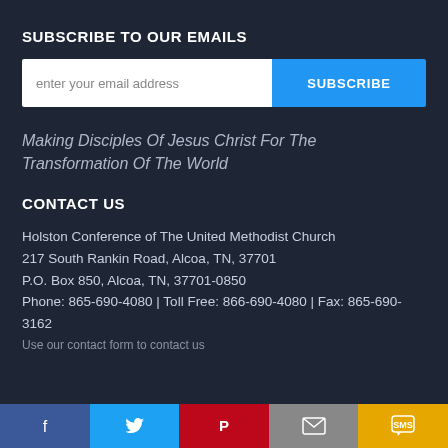SUBSCRIBE TO OUR EMAILS
[Figure (screenshot): Email subscription input field with placeholder 'enter your email address' and a blue SUBSCRIBE button]
Making Disciples Of Jesus Christ For The Transformation Of The World
CONTACT US
Holston Conference of The United Methodist Church
217 South Rankin Road, Alcoa, TN, 37701
P.O. Box 850, Alcoa, TN, 37701-0850
Phone: 865-690-4080 | Toll Free: 866-690-4080 | Fax: 865-690-3162
Use our contact form to contact us
[Figure (screenshot): Social media share bar with Facebook (blue), Twitter (light blue), Pinterest (red), Email (grey), and SMS (yellow/orange) icons]